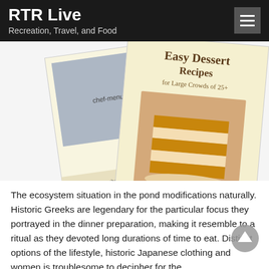RTR Live
Recreation, Travel, and Food
[Figure (photo): Two cookbook/recipe booklets from chef-menus.com angled on a white background. The front booklet shows 'Easy Dessert Recipes for Large Crowds of 25+' with a photo of a layered cake slice. Behind it is another booklet showing a catering buffet scene.]
The ecosystem situation in the pond modifications naturally. Historic Greeks are legendary for the particular focus they portrayed in the dinner preparation, making it resemble to a ritual as they devoted long durations of time to eat. Distinct options of the lifestyle, historic Japanese clothing and women is troublesome to decipher for the